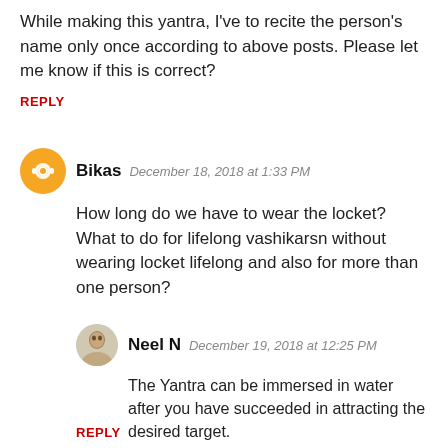While making this yantra, I've to recite the person's name only once according to above posts. Please let me know if this is correct?
REPLY
Bikas  December 18, 2018 at 1:33 PM
How long do we have to wear the locket? What to do for lifelong vashikarsn without wearing locket lifelong and also for more than one person?
Neel N  December 19, 2018 at 12:25 PM
The Yantra can be immersed in water after you have succeeded in attracting the desired target.
REPLY